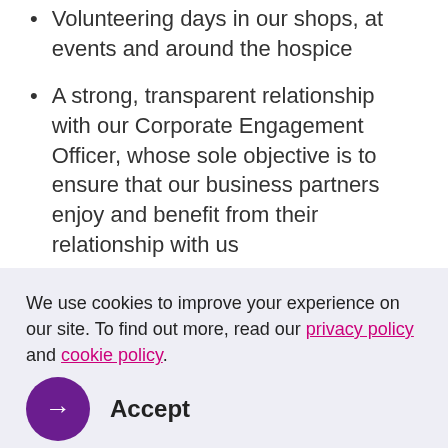Volunteering days in our shops, at events and around the hospice
A strong, transparent relationship with our Corporate Engagement Officer, whose sole objective is to ensure that our business partners enjoy and benefit from their relationship with us
We use cookies to improve your experience on our site. To find out more, read our privacy policy and cookie policy.
Accept